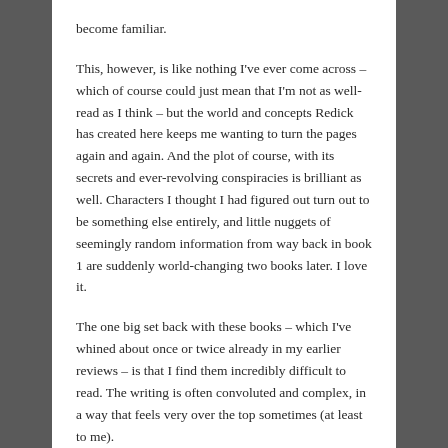become familiar.
This, however, is like nothing I've ever come across – which of course could just mean that I'm not as well-read as I think – but the world and concepts Redick has created here keeps me wanting to turn the pages again and again. And the plot of course, with its secrets and ever-revolving conspiracies is brilliant as well. Characters I thought I had figured out turn out to be something else entirely, and little nuggets of seemingly random information from way back in book 1 are suddenly world-changing two books later. I love it.
The one big set back with these books – which I've whined about once or twice already in my earlier reviews – is that I find them incredibly difficult to read. The writing is often convoluted and complex, in a way that feels very over the top sometimes (at least to me).